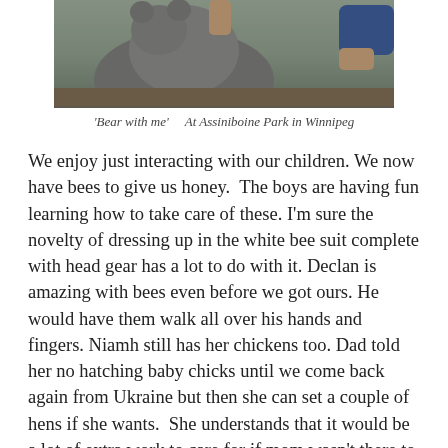[Figure (photo): Photo of a child touching a large bear statue at Assiniboine Park in Winnipeg. The image is cropped at the top, showing hands on a grey bear sculpture with a blue-sleeved arm visible.]
'Bear with me'    At Assiniboine Park in Winnipeg
We enjoy just interacting with our children. We now have bees to give us honey.  The boys are having fun learning how to take care of these. I'm sure the novelty of dressing up in the white bee suit complete with head gear has a lot to do with it. Declan is amazing with bees even before we got ours. He would have them walk all over his hands and fingers. Niamh still has her chickens too. Dad told her no hatching baby chicks until we come back again from Ukraine but then she can set a couple of hens if she wants.  She understands that it would be a lot of extra work to care for if mom wasn't there to do it!  We hope we are teaching them important life lessons from the farm…